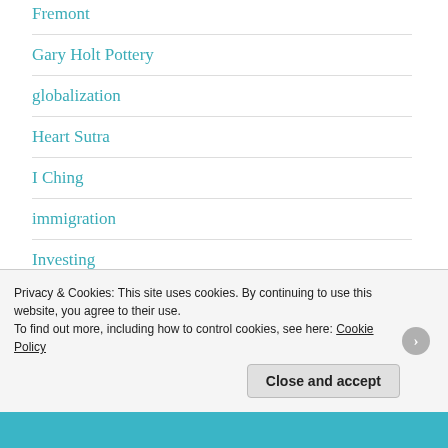Fremont
Gary Holt Pottery
globalization
Heart Sutra
I Ching
immigration
Investing
Janney's brush
Privacy & Cookies: This site uses cookies. By continuing to use this website, you agree to their use.
To find out more, including how to control cookies, see here: Cookie Policy
Close and accept